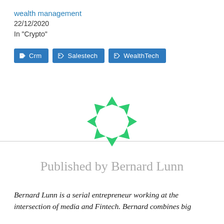wealth management
22/12/2020
In "Crypto"
Crm
Salestech
WealthTech
[Figure (logo): Circular logo made of green triangular arrow segments arranged in a ring]
Published by Bernard Lunn
Bernard Lunn is a serial entrepreneur working at the intersection of media and Fintech. Bernard combines big